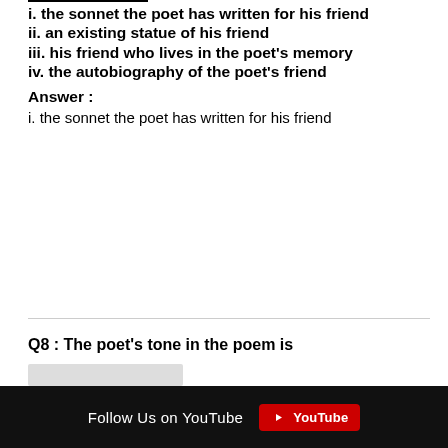i. the sonnet the poet has written for his friend
ii. an existing statue of his friend
iii. his friend who lives in the poet's memory
iv. the autobiography of the poet's friend
Answer :
i. the sonnet the poet has written for his friend
Q8 : The poet's tone in the poem is
Follow Us on YouTube